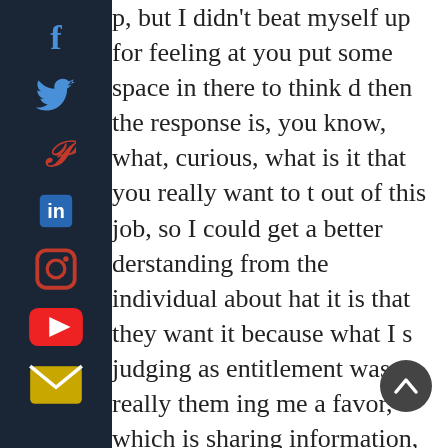[Figure (infographic): Dark sidebar with social media icons: Facebook, Twitter, Pinterest, LinkedIn, Instagram, YouTube, Email]
p, but I didn't beat myself up for feeling at you put some space in there to think d then the response is, you know, what, curious, what is it that you really want to t out of this job, so I could get a better derstanding from the individual about hat it is that they want it because what I s judging as entitlement was really them ing me a favor, which is sharing information, because more information is always better, and that they weren't getting everything they wanted out of the job.

If I want somebody to be happy and